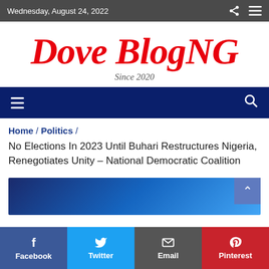Wednesday, August 24, 2022
Dove BlogNG — Since 2020
Home / Politics /
No Elections In 2023 Until Buhari Restructures Nigeria, Renegotiates Unity – National Democratic Coalition
[Figure (screenshot): Blue gradient image preview of article]
Facebook | Twitter | Email | Pinterest share buttons